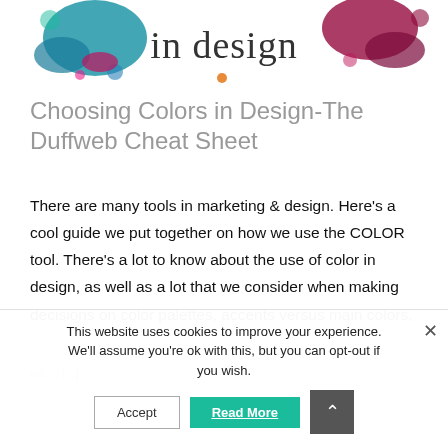[Figure (illustration): Website header with 'in design' text and colorful paint splatter decoration on left and right sides]
Choosing Colors in Design-The Duffweb Cheat Sheet
There are many tools in marketing & design. Here's a cool guide we put together on how we use the COLOR tool. There's a lot to know about the use of color in design, as well as a lot that we consider when making decisions on color palettes, accents versus main colors, etc in [...]
This website uses cookies to improve your experience. We'll assume you're ok with this, but you can opt-out if you wish.